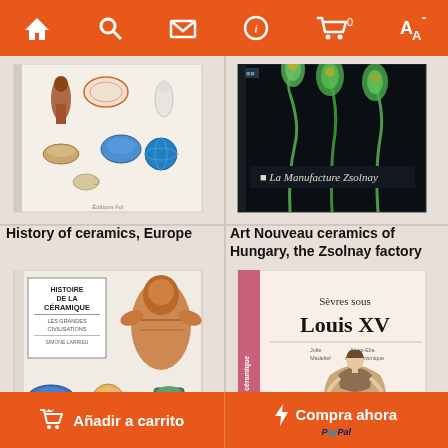Navigation bar with home, search, mail, info, cart (0), translate icons
[Figure (illustration): Book cover: History of ceramics, Europe — shows various ceramic objects including figurines, plates, cups on white background]
History of ceramics, Europe
[Figure (illustration): Book cover: Art Nouveau ceramics of Hungary, the Zsolnay factory — dark background with green Art Nouveau style flower/vase forms, text 'La Manufacture Zsolnay']
Art Nouveau ceramics of Hungary, the Zsolnay factory
[Figure (illustration): Book cover: Histoire de la Céramique Les Grandes Civilisations — shows various ancient ceramic figurines and decorated vessels]
[Figure (illustration): Book cover: Sèvres sous Louis XV — shows a porcelain figurine of a lady in period dress, with spine text 'histoire céramique']
Añadir a carrito    Compra ahora   PayPal